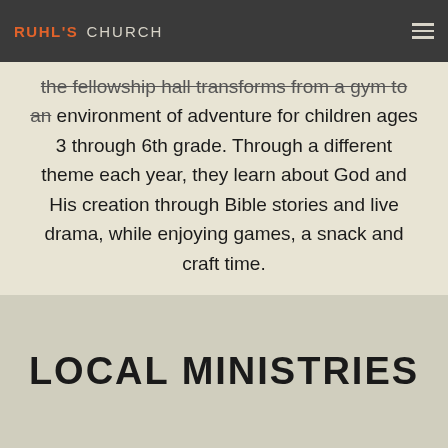RUHL'S CHURCH
the fellowship hall transforms from a gym to an environment of adventure for children ages 3 through 6th grade. Through a different theme each year, they learn about God and His creation through Bible stories and live drama, while enjoying games, a snack and craft time.
LOCAL MINISTRIES